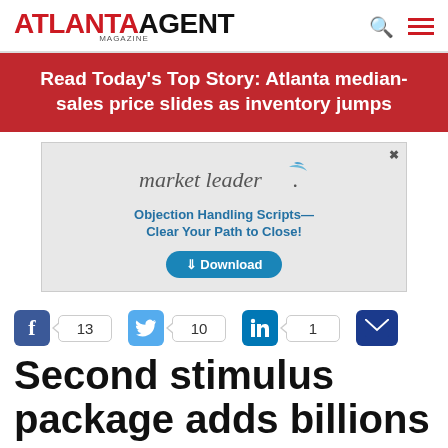ATLANTA AGENT MAGAZINE
Read Today's Top Story: Atlanta median-sales price slides as inventory jumps
[Figure (other): Market Leader advertisement — Objection Handling Scripts — Clear Your Path to Close! Download button]
13  10  1
Second stimulus package adds billions